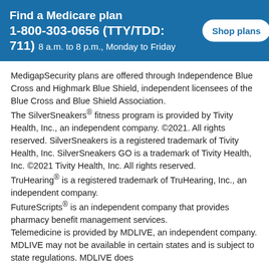Find a Medicare plan 1-800-303-0656 (TTY/TDD: 711) 8 a.m. to 8 p.m., Monday to Friday  Shop plans
MedigapSecurity plans are offered through Independence Blue Cross and Highmark Blue Shield, independent licensees of the Blue Cross and Blue Shield Association.
The SilverSneakers® fitness program is provided by Tivity Health, Inc., an independent company. ©2021. All rights reserved. SilverSneakers is a registered trademark of Tivity Health, Inc. SilverSneakers GO is a trademark of Tivity Health, Inc. ©2021 Tivity Health, Inc. All rights reserved.
TruHearing® is a registered trademark of TruHearing, Inc., an independent company.
FutureScripts® is an independent company that provides pharmacy benefit management services.
Telemedicine is provided by MDLIVE, an independent company. MDLIVE may not be available in certain states and is subject to state regulations. MDLIVE does